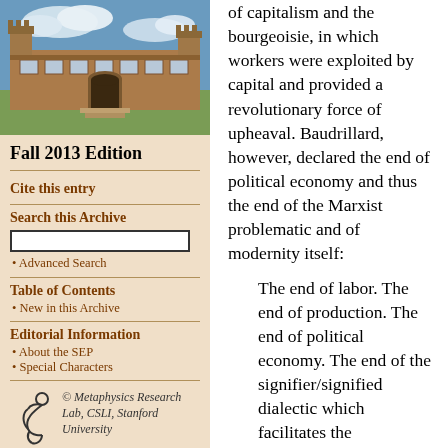[Figure (photo): Photograph of a historic stone university building with Gothic architecture under a blue sky with clouds]
Fall 2013 Edition
Cite this entry
Search this Archive
Advanced Search
Table of Contents
New in this Archive
Editorial Information
About the SEP
Special Characters
© Metaphysics Research Lab, CSLI, Stanford University
of capitalism and the bourgeoisie, in which workers were exploited by capital and provided a revolutionary force of upheaval. Baudrillard, however, declared the end of political economy and thus the end of the Marxist problematic and of modernity itself:
The end of labor. The end of production. The end of political economy. The end of the signifier/signified dialectic which facilitates the accumulation of knowledge and of meaning, the linear syntagma of cumulative discourse. And at the